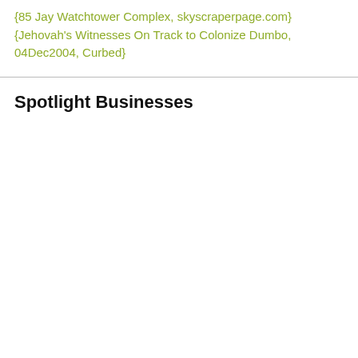{85 Jay Watchtower Complex, skyscraperpage.com} {Jehovah's Witnesses On Track to Colonize Dumbo, 04Dec2004, Curbed}
Spotlight Businesses